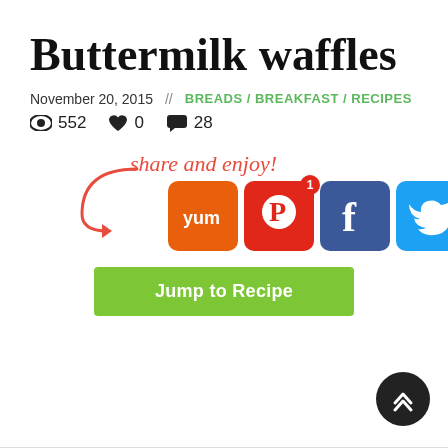Buttermilk waffles
November 20, 2015  //  BREADS / BREAKFAST / RECIPES
👁 552  ♥ 0  💬 28
[Figure (screenshot): Share and enjoy! section with social media share buttons: Yummly (orange), Pinterest (red, badge 1), Facebook (dark blue), Twitter (light blue), Email (grey), Refresh/share (green)]
Jump to Recipe